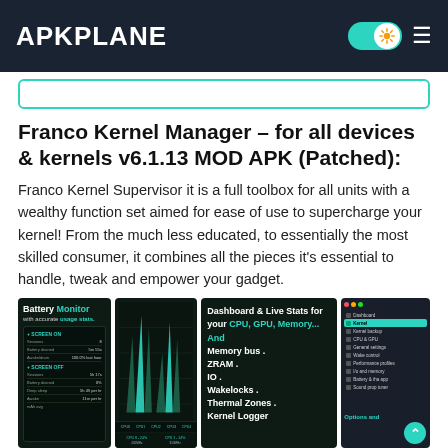APKPLANE
Franco Kernel Manager – for all devices & kernels v6.1.13 MOD APK (Patched):
Franco Kernel Supervisor it is a full toolbox for all units with a wealthy function set aimed for ease of use to supercharge your kernel! From the much less educated, to essentially the most skilled consumer, it combines all the pieces it's essential to handle, tweak and empower your gadget.
[Figure (screenshot): Four app screenshots showing Battery Monitor, CPU graph, Dashboard & Live Stats for CPU/GPU/Memory/Memory bus/ZRAM/IO/Wakelocks/Thermal Zones/Kernel Logger, and a dark sidebar menu with Options and label.]